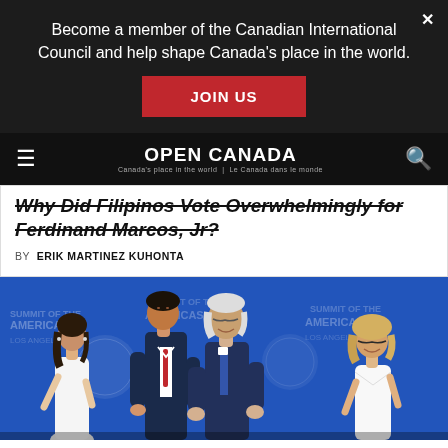Become a member of the Canadian International Council and help shape Canada's place in the world.
JOIN US
OPEN CANADA | Canada's place in the world | Le Canada dans le monde
Why Did Filipinos Vote Overwhelmingly for Ferdinand Marcos, Jr?
BY: ERIK MARTINEZ KUHONTA
[Figure (photo): Photo of people greeting at the Summit of the Americas event, with blue branded backdrop. Shows two men embracing/greeting in center, a woman in white dress on left, and a blonde woman in white on right.]